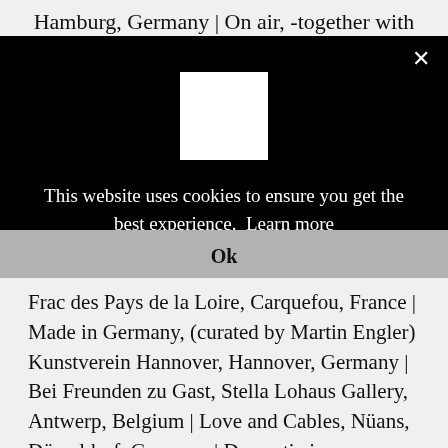Hamburg, Germany | On air, -together with
[Figure (screenshot): Cookie consent modal overlay on black background with white placeholder image box, close button (x), cookie notice text, and Learn more link]
This website uses cookies to ensure you get the best experience.  Learn more
Ok
Frac des Pays de la Loire, Carquefou, France | Made in Germany, (curated by Martin Engler) Kunstverein Hannover, Hannover, Germany | Bei Freunden zu Gast, Stella Lohaus Gallery, Antwerp, Belgium | Love and Cables, Nüans, Düsseldorf, Germany | Domestic irony, a curious glance on private Italian collections, MUSEION, Bolzano, Italy | Como vivir juntos, Museo de Arte Contemporáneo de Santiago de Chile, Chile | Que